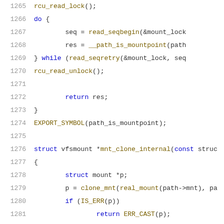[Figure (screenshot): Source code listing showing C kernel code lines 1265-1286, including rcu_read_lock, do-while loop with read_seqbegin and __path_is_mountpoint, rcu_read_unlock, return res, EXPORT_SYMBOL, mnt_clone_internal function definition, and #ifdef CONFIG_PROC_FS]